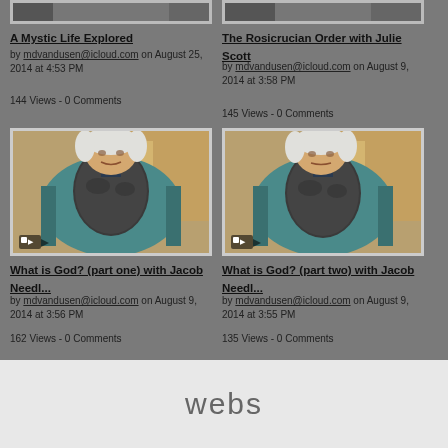[Figure (screenshot): Thumbnail for 'A Mystic Life Explored' video showing top portion of person, clipped at top]
A Mystic Life Explored
by mdvandusen@icloud.com on August 25, 2014 at 4:53 PM
144 Views - 0 Comments
[Figure (screenshot): Thumbnail for 'The Rosicrucian Order with Julie Scott' video, clipped at top, partial view]
The Rosicrucian Order with Julie Scott
by mdvandusen@icloud.com on August 9, 2014 at 3:58 PM
145 Views - 0 Comments
[Figure (photo): Elderly man with white hair sitting in teal armchair wearing patterned jacket, video thumbnail for 'What is God? (part one) with Jacob Needl...']
What is God? (part one) with Jacob Needl...
by mdvandusen@icloud.com on August 9, 2014 at 3:56 PM
162 Views - 0 Comments
[Figure (photo): Elderly man with white hair sitting in teal armchair wearing patterned jacket, video thumbnail for 'What is God? (part two) with Jacob Needl...']
What is God? (part two) with Jacob Needl...
by mdvandusen@icloud.com on August 9, 2014 at 3:55 PM
135 Views - 0 Comments
webs